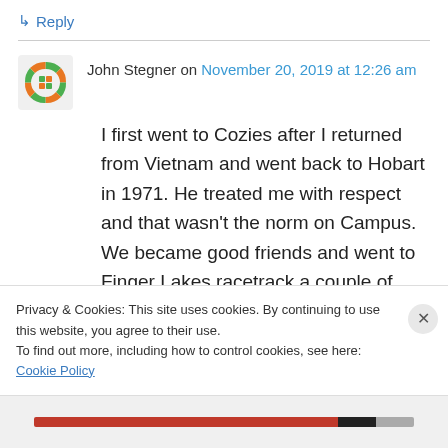↳ Reply
John Stegner on November 20, 2019 at 12:26 am
I first went to Cozies after I returned from Vietnam and went back to Hobart in 1971. He treated me with respect and that wasn't the norm on Campus. We became good friends and went to Finger Lakes racetrack a couple of days a week. He lent me money when my GI Bill payments ran short. A wonderful man who I will
Privacy & Cookies: This site uses cookies. By continuing to use this website, you agree to their use.
To find out more, including how to control cookies, see here: Cookie Policy
Close and accept